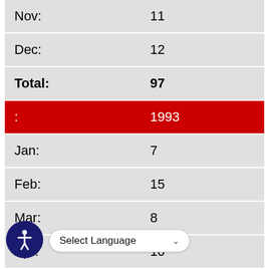|  |  |
| --- | --- |
| Nov: | 11 |
| Dec: | 12 |
| Total: | 97 |
| : | 1993 |
| Jan: | 7 |
| Feb: | 15 |
| Mar: | 8 |
| Apr: | 10 |
| May: | 4 |
| Jun: | 9 |
| Jul: | 6 |
| Aug: | 8 |
| Sep: | 8 |
| Oct: | 10 |